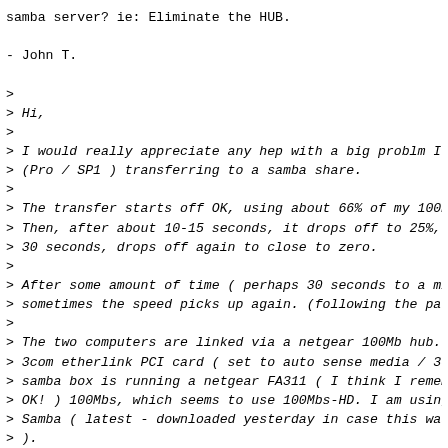samba server? ie: Eliminate the HUB.
- John T.
>
> Hi,
>
> I would really appreciate any hep with a big problm I'r
> (Pro / SP1 ) transferring to a samba share.
>
> The transfer starts off OK, using about 66% of my 100Mb
> Then, after about 10-15 seconds, it drops off to 25%, :
> 30 seconds, drops off again to close to zero.
>
> After some amount of time ( perhaps 30 seconds to a mir
> sometimes the speed picks up again. (following the patt
>
> The two computers are linked via a netgear 100Mb hub. 7
> 3com etherlink PCI card ( set to auto sense media / 3c'
> samba box is running a netgear FA311 ( I think I remem
> OK! ) 100Mbs, which seems to use 100Mbs-HD. I am using
> Samba ( latest - downloaded yesterday in case this was
> ).
>
> I have tried forcing both cards to full-duplex, and thi
> complete network failure on the XP side, but normal ope
> linux side.
>
> I am seeing 'browser election' messages in the xp even
> force the full-duplex setting, but not in auto-sense m(